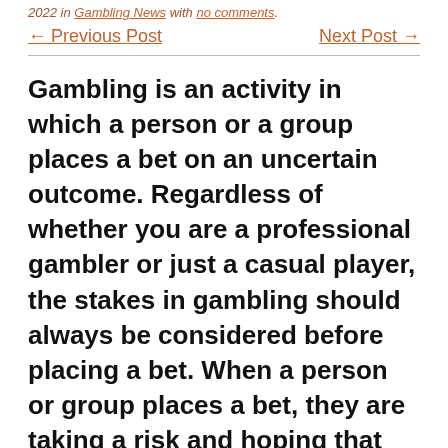2022 in Gambling News with no comments.
← Previous Post   Next Post →
Gambling is an activity in which a person or a group places a bet on an uncertain outcome. Regardless of whether you are a professional gambler or just a casual player, the stakes in gambling should always be considered before placing a bet. When a person or group places a bet, they are taking a risk and hoping that they will win. The risks involved in gambling and the prize that can be won should be carefully considered